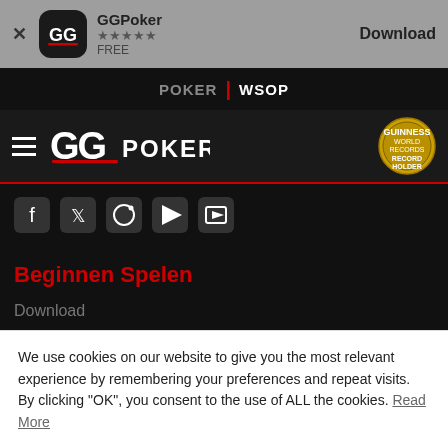[Figure (screenshot): App store banner showing GGPoker app with icon, 5-star rating, FREE label, and Download button]
POKER | WSOP
[Figure (logo): GGPoker logo with hamburger menu on dark background, Guinness Record Holder badge on right]
[Figure (illustration): Social media icons row partially visible]
Beginnen Spelen
Download
We use cookies on our website to give you the most relevant experience by remembering your preferences and repeat visits. By clicking "OK", you consent to the use of ALL the cookies. Read More
OK